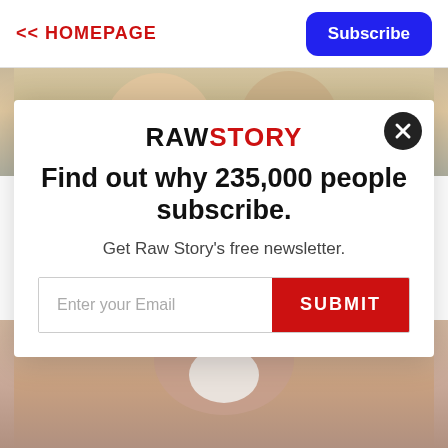<< HOMEPAGE
Subscribe
[Figure (photo): Partial view of an elderly couple faces (woman with blonde hair, man with grey hair) visible at top]
[Figure (screenshot): RawStory newsletter subscription modal with logo, headline, email input and submit button]
[Figure (photo): Partial view of a person applying a face mask on their nose, visible at bottom]